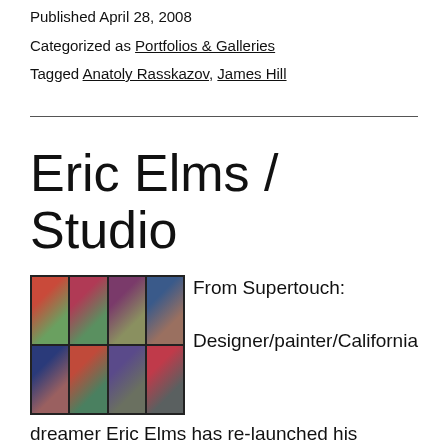Published April 28, 2008
Categorized as Portfolios & Galleries
Tagged Anatoly Rasskazov, James Hill
Eric Elms / Studio
[Figure (photo): Grid of 8 portrait paintings arranged in 2 rows of 4, colorful painted portraits of people with green and pink backgrounds]
From Supertouch:

Designer/painter/California dreamer Eric Elms has re-launched his personal website...